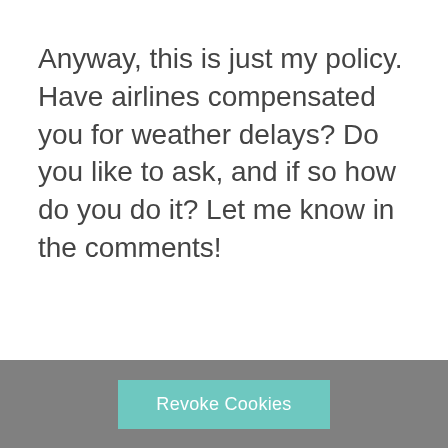Anyway, this is just my policy. Have airlines compensated you for weather delays? Do you like to ask, and if so how do you do it? Let me know in the comments!
Revoke Cookies